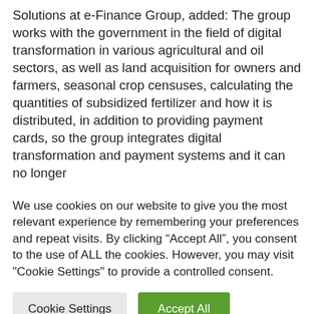Solutions at e-Finance Group, added: The group works with the government in the field of digital transformation in various agricultural and oil sectors, as well as land acquisition for owners and farmers, seasonal crop censuses, calculating the quantities of subsidized fertilizer and how it is distributed, in addition to providing payment cards, so the group integrates digital transformation and payment systems and it can no longer
We use cookies on our website to give you the most relevant experience by remembering your preferences and repeat visits. By clicking “Accept All”, you consent to the use of ALL the cookies. However, you may visit "Cookie Settings" to provide a controlled consent.